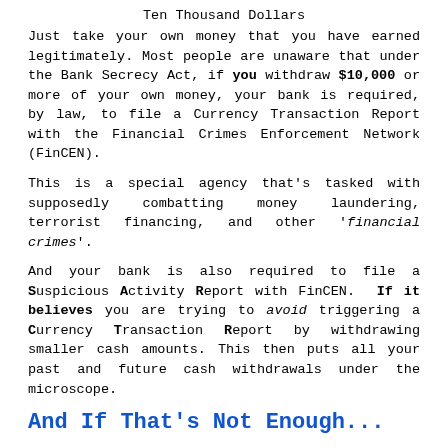Ten Thousand Dollars
Just take your own money that you have earned legitimately. Most people are unaware that under the Bank Secrecy Act, if you withdraw $10,000 or more of your own money, your bank is required, by law, to file a Currency Transaction Report with the Financial Crimes Enforcement Network (FinCEN).
This is a special agency that's tasked with supposedly combatting money laundering, terrorist financing, and other 'financial crimes'.
And your bank is also required to file a Suspicious Activity Report with FinCEN. If it believes you are trying to avoid triggering a Currency Transaction Report by withdrawing smaller cash amounts. This then puts all your past and future cash withdrawals under the microscope.
And If That's Not Enough...